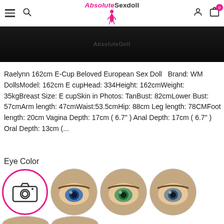AbsoluteSexdoll
[Figure (photo): Dark banner image of product with faint text overlay]
Raelynn 162cm E-Cup Beloved European Sex Doll   Brand: WM DollsModel: 162cm E cupHead: 334Height: 162cmWeight: 35kgBreast Size: E cupSkin in Photos: TanBust: 82cmLower Bust: 57cmArm length: 47cmWaist:53.5cmHip: 88cm Leg length: 78CMFoot length: 20cm Vagina Depth: 17cm ( 6.7" ) Anal Depth: 17cm ( 6.7" ) Oral Depth: 13cm (...
Eye Color
[Figure (photo): Four circular eye color options: camera icon (selected with pink border), blue eye, green eye, grey/dark eye]
[Figure (photo): Partial bottom row of circular eye color options]